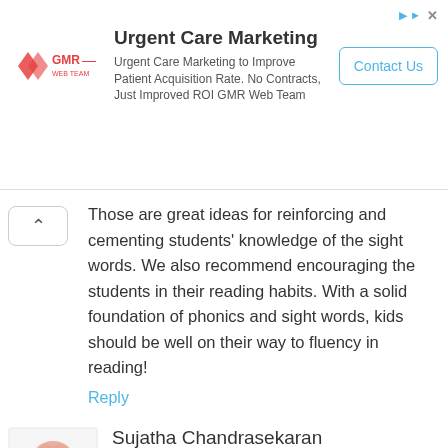[Figure (screenshot): Advertisement banner for Urgent Care Marketing by GMR Web Team, with logo, headline, body text, and Contact Us button]
Those are great ideas for reinforcing and cementing students' knowledge of the sight words. We also recommend encouraging the students in their reading habits. With a solid foundation of phonics and sight words, kids should be well on their way to fluency in reading!
Reply
Sujatha Chandrasekaran
October 28, 2015
Hello, I am very happy to find this website for the cause of children. Thank you so much for